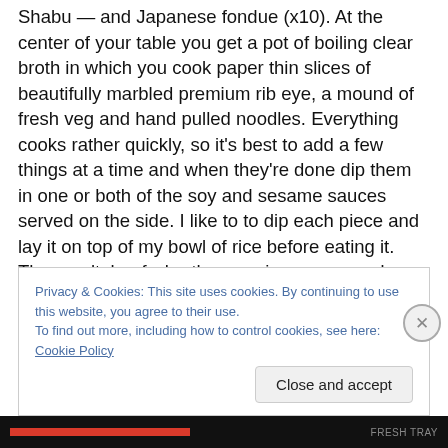Shabu — and Japanese fondue (x10). At the center of your table you get a pot of boiling clear broth in which you cook paper thin slices of beautifully marbled premium rib eye, a mound of fresh veg and hand pulled noodles. Everything cooks rather quickly, so it's best to add a few things at a time and when they're done dip them in one or both of the soy and sesame sauces served on the side. I like to to dip each piece and lay it on top of my bowl of rice before eating it. The result: beefy, brothy, veggie, saucy goodness soaked up by each white fluffy grain — the well deserved reward after all that hard work slaving over a hot
Privacy & Cookies: This site uses cookies. By continuing to use this website, you agree to their use. To find out more, including how to control cookies, see here: Cookie Policy
Close and accept